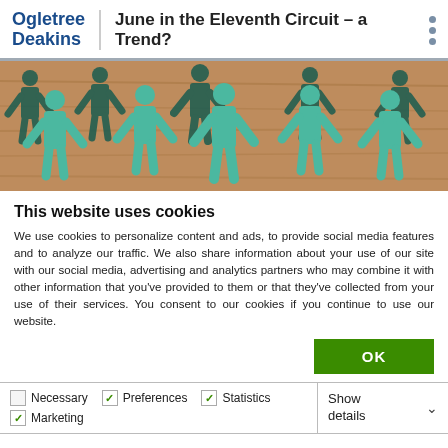Ogletree Deakins | June in the Eleventh Circuit – a Trend?
[Figure (photo): Photo of paper cutout human figures holding hands in a chain, in teal/green colors on a wooden background, representing unity or employment/HR themes.]
This website uses cookies
We use cookies to personalize content and ads, to provide social media features and to analyze our traffic. We also share information about your use of our site with our social media, advertising and analytics partners who may combine it with other information that you've provided to them or that they've collected from your use of their services. You consent to our cookies if you continue to use our website.
OK
Necessary
Preferences
Statistics
Marketing
Show details